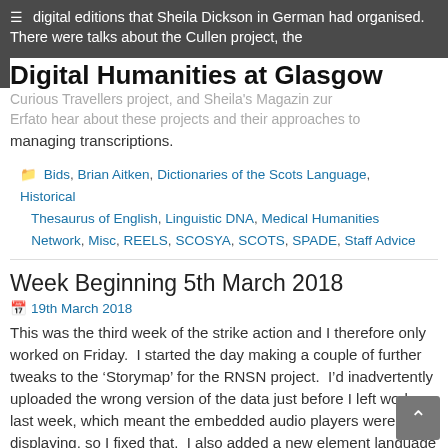digital editions that Sheila Dickson in German had organised. There were talks about the Cullen project, the
Digital Humanities at Glasgow
Curious Travellers project, and Sheila's Magazin zur Erfa... to hear about these projects and their approaches to managing transcriptions.
Bids, Brian Aitken, Dictionaries of the Scots Language, Historical Thesaurus of English, Linguistic DNA, Medical Humanities Network, Misc, REELS, SCOSYA, SCOTS, SPADE, Staff Advice
Week Beginning 5th March 2018
19th March 2018
This was the third week of the strike action and I therefore only worked on Friday. I started the day making a couple of further tweaks to the 'Storymap' for the RNSN project. I'd inadvertently uploaded the wrong version of the data just before I left work last week, which meant the embedded audio players weren't displaying, so I fixed that. I also added a new element language to the REELS database and added the new logo to the SPADE project